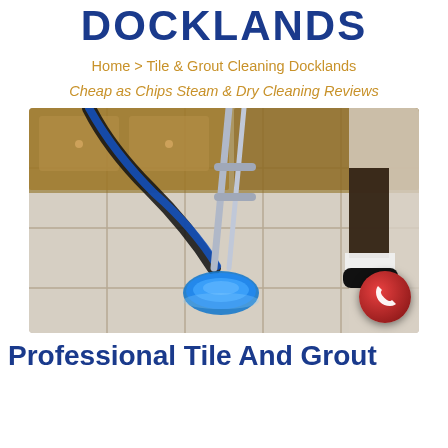DOCKLANDS
Home > Tile & Grout Cleaning Docklands
Cheap as Chips Steam & Dry Cleaning Reviews
[Figure (photo): A professional cleaner operating a blue circular tile and grout steam cleaning machine on a tiled kitchen floor, with hoses running to equipment behind them.]
Professional Tile And Grout